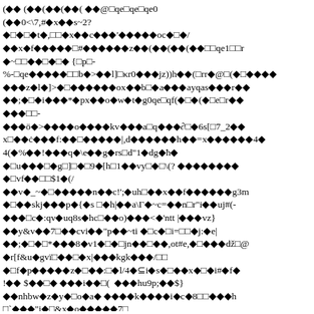(◆◆ (◆◆(◆◆(◆◆( ◆◆@□qe□qe□qe0
(◆◆0<\7,#◆x◆◆s~2?
◆□◆□◆t◆,□□◆x◆◆c◆◆◆'◆◆◆◆◆oc◆□◆/
◆◆x◆f◆◆◆◆◆□#◆◆◆◆◆◆z◆◆(◆◆(◆◆(◆◆□□qe1□□r
◆~□□◆◆□◆□◆ {□p□-
%-□qe◆◆◆◆◆□□b◆>◆◆l]□κr0◆◆◆jz))h◆◆(□rr◆@□(◆□◆◆◆◆
◆◆◆z◆l◆]>◆□◆◆◆◆◆◆ox◆◆b□◆a◆◆◆ayqas◆◆◆r◆◆
◆◆;◆□◆i◆◆◆*◆px◆◆o◆w◆t◆g0qe□qf(◆□◆(◆□e□r◆◆
◆◆◆□□-
◆◆◆ö◆>◆◆◆◆o◆◆◆◆kv◆◆◆a□q◆◆◆∂□◆6s[□7_2◆◆
x□◆◆ċ◆◆◆f:◆◆□◆◆◆◆◆|,d◆◆◆◆◆◆h◆◆=x◆◆◆◆◆◆4◆
4(◆%◆◆!◆◆◆q◆\e◆◆g◆rs□d"1◆dg◆ħ◆
◆□u◆◆◆□◆g□]□◆□9◆[h□1◆◆vy□◆□\(? ◆◆◆◆◆◆◆◆
◆□vf◆◆□□$1◆(/
◆◆v◆_~◆□◆◆◆◆◆n◆◆c!';◆uh□◆◆x◆◆f◆◆◆◆◆◆g3m
◆□◆◆skj◆◆◆p◆{◆s □◆h|◆◆a\Γ◆~c=◆◆n□r"i◆◆uj#(-
◆◆◆□c◆:qv◆uq8s◆hc□◆◆o)◆◆◆<◆'ntt |◆◆◆vz}
◆◆y&v◆◆7□◆◆cvi◆◆"p◆◆~ti ◆□c◆□i=□□◆j:◆e|
◆◆;◆□◆□*◆◆◆8◆v1◆□◆□jn◆◆□◆◆,ot#e,◆□◆◆◆dž□@
◆r[f&u◆gvï□◆◆□◆x|◆◆◆kgk◆◆◆/□□
◆□f◆p◆◆◆◆◆z◆□◆◆:□◆l/4◆⊆i◆s◆□◆◆x◆□◆i#◆f◆
!◆◆ $◆◆□◆ ◆◆◆i◆◆□( □ ◆◆◆hu9p;◆◆$}
◆◆nhbw◆z◆y◆□o◆a◆ ◆◆◆◆k◆◆◆◆i◆c◆8□□◆◆◆h
□`◆◆◆"i◆□&x◆o◆◆◆◆◆7□